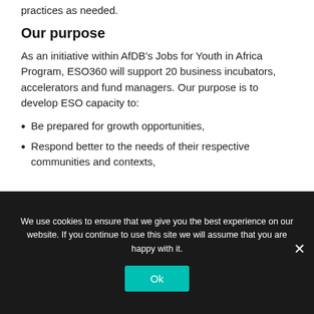practices as needed.
Our purpose
As an initiative within AfDB's Jobs for Youth in Africa Program, ESO360 will support 20 business incubators, accelerators and fund managers. Our purpose is to develop ESO capacity to:
Be prepared for growth opportunities,
Respond better to the needs of their respective communities and contexts,
We use cookies to ensure that we give you the best experience on our website. If you continue to use this site we will assume that you are happy with it.